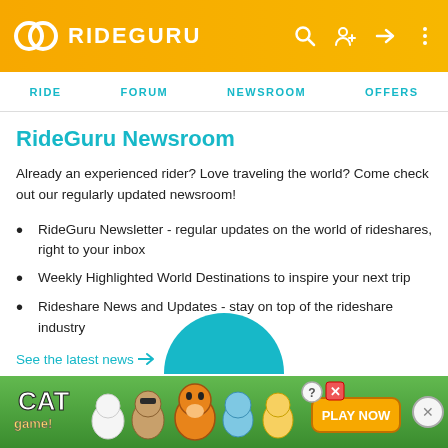RIDEGURU
RIDE   FORUM   NEWSROOM   OFFERS
RideGuru Newsroom
Already an experienced rider? Love traveling the world? Come check out our regularly updated newsroom!
RideGuru Newsletter - regular updates on the world of rideshares, right to your inbox
Weekly Highlighted World Destinations to inspire your next trip
Rideshare News and Updates - stay on top of the rideshare industry
See the latest news →
[Figure (illustration): Partial teal circle visible at bottom of content area above ad banner]
[Figure (illustration): Cat Game advertisement banner with cartoon cats and Play Now button on green background]